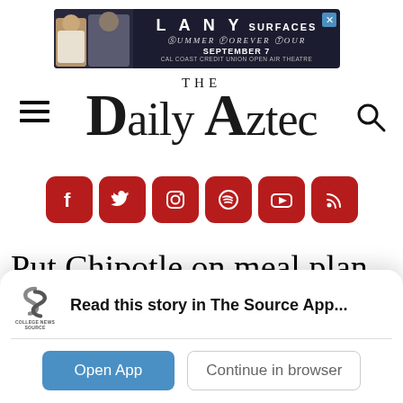[Figure (screenshot): Advertisement banner for LANY SURFACES Summer Forever Tour, September 7, Cal Coast Credit Union Open Air Theatre, with two people in photo on left]
THE DAILY AZTEC
[Figure (logo): The Daily Aztec newspaper logo with social media icons: Facebook, Twitter, Instagram, Spotify, YouTube, RSS]
Put Chipotle on meal plan or replace it
[Figure (screenshot): College News Source app prompt card: Read this story in The Source App... with Open App and Continue in browser buttons]